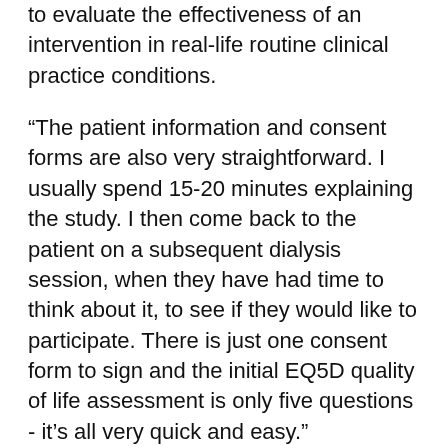to evaluate the effectiveness of an intervention in real-life routine clinical practice conditions.
“The patient information and consent forms are also very straightforward. I usually spend 15-20 minutes explaining the study. I then come back to the patient on a subsequent dialysis session, when they have had time to think about it, to see if they would like to participate. There is just one consent form to sign and the initial EQ5D quality of life assessment is only five questions - it’s all very quick and easy.”
From a research nurse perspective, Sarah also cites several reasons that make SIMPLIFIED a low intensity study to deliver:
“The inclusion and exclusion criteria are broad, so it